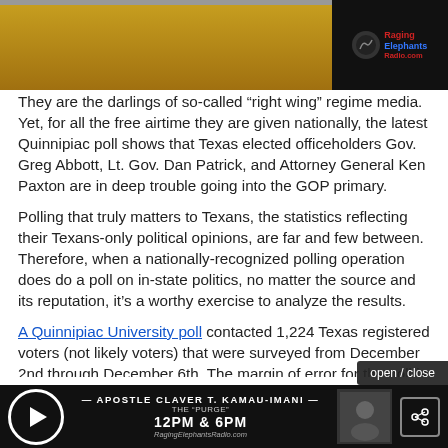[Figure (photo): Top banner image with a gold/yellow strip on the left and a Raging Elephants Radio.com logo on the right against black background]
They are the darlings of so-called “right wing” regime media. Yet, for all the free airtime they are given nationally, the latest Quinnipiac poll shows that Texas elected officeholders Gov. Greg Abbott, Lt. Gov. Dan Patrick, and Attorney General Ken Paxton are in deep trouble going into the GOP primary.
Polling that truly matters to Texans, the statistics reflecting their Texans-only political opinions, are far and few between. Therefore, when a nationally-recognized polling operation does do a poll on in-state politics, no matter the source and its reputation, it’s a worthy exercise to analyze the results.
A Quinnipiac University poll contacted 1,224 Texas registered voters (not likely voters) that were surveyed from December 2nd through December 6th. The margin of error for the poll is +/- 2.8 percentage points.
[Figure (infographic): Bottom advertisement bar: Apostle Claver T. Kamau-Imani radio show ad, 12PM & 6PM, Raging Elephants Radio, with play button and share button]